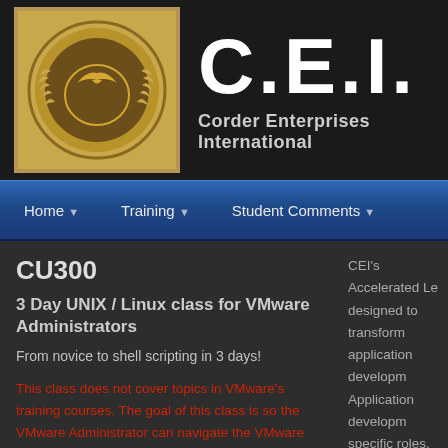[Figure (logo): CEI logo — gold medallion with wreath and globe/bird emblem]
C.E.I.
Corder Enterprises International
Home | Training | Student Comments
CU300
3 Day UNIX / Linux class for VMware Administrators
From novice to shell scripting in 3 days!
This class does not cover topics in VMware's training courses. The goal of this class is so the VMware Administrator can navigate the VMware VMA. The course is taught in the VMA.
Audience:
CEI's Accelerated Le... designed to transform application developm... Application developm... specific roles, our Ac... camps emphasize th... are actually used on ... Professional can quic...
Though, many VMwa... does not cover VMwa... VMware scripting. Th... VMware I&C and DS... users to better und...